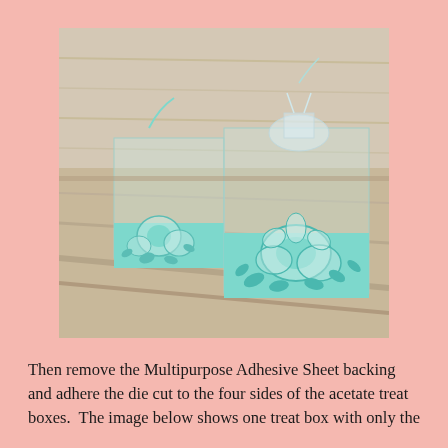[Figure (photo): Two decorative transparent acetate treat boxes with mint/teal floral die cut paper wraps around the base, showing intricate flower cutout designs. The boxes are sitting on a wooden surface. One box has a clear top with a ribbon, the other is a smaller open box.]
Then remove the Multipurpose Adhesive Sheet backing and adhere the die cut to the four sides of the acetate treat boxes.  The image below shows one treat box with only the